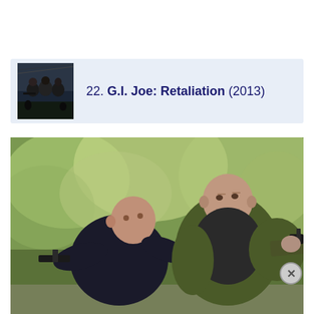[Figure (photo): Movie listing entry with thumbnail poster for G.I. Joe: Retaliation showing soldiers in action pose]
22. G.I. Joe: Retaliation (2013)
[Figure (photo): Scene from G.I. Joe: Retaliation showing two bald men in action poses holding guns, with blurred green foliage background]